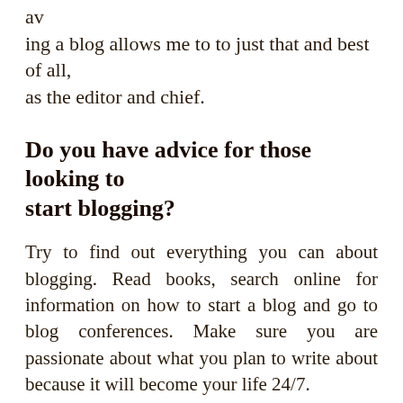av
ing a blog allows me to to just that and best of all, as the editor and chief.
Do you have advice for those looking to start blogging?
Try to find out everything you can about blogging. Read books, search online for information on how to start a blog and go to blog conferences. Make sure you are passionate about what you plan to write about because it will become your life 24/7.
How do you define success and do you consider yourself successful? If so, how